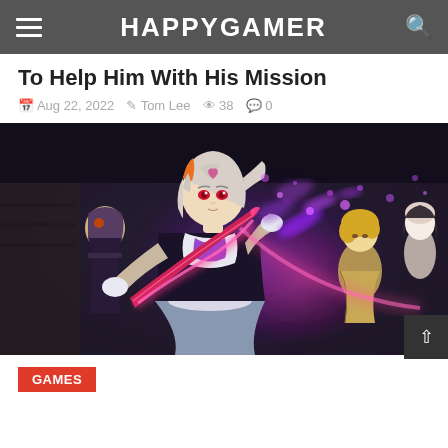HAPPYGAMER
To Help Him With His Mission
Aug 22, 2022  Tom Lee  38  0
[Figure (screenshot): Genshin Impact style anime characters in battle scene with purple energy effects. Main character has silver/white hair with red eyes, wearing dark outfit, wielding a blade with purple and pink magical energy. Two other characters visible in the background.]
GAMES